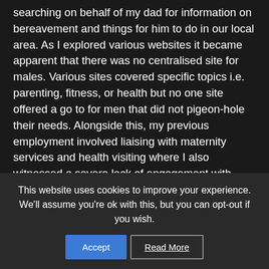searching on behalf of my dad for information on bereavement and things for him to do in our local area. As I explored various websites it became apparent that there was no centralised site for males. Various sites covered specific topics i.e. parenting, fitness, or health but no one site offered a go to for men that did not pigeon-hole their needs. Alongside this, my previous employment involved liaising with maternity services and health visiting where I also witnessed a severe lack of engagement with fathers. And thus MaleMenu was born. The site is designed to be helpful, resourceful, practical and informative. The articles we share address a wealth of topics and our TALK section offers...
This website uses cookies to improve your experience. We'll assume you're ok with this, but you can opt-out if you wish.